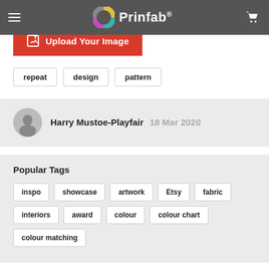Prinfab®
What are you waiting for? Get creating now.
Upload Your Image
repeat
design
pattern
Harry Mustoe-Playfair 18 Mar 2020
Popular Tags
inspo
showcase
artwork
Etsy
fabric
interiors
award
colour
colour chart
colour matching